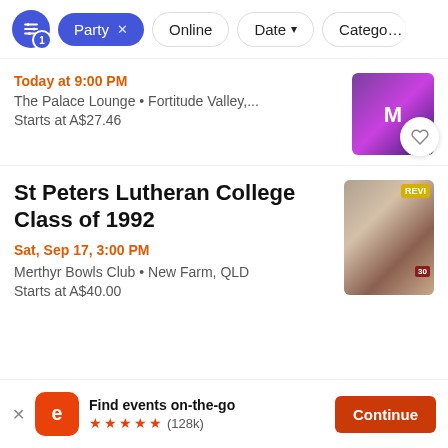[Figure (screenshot): Filter bar with active Party filter pill, Online, Date dropdown, and Category filter options]
Today at 9:00 PM
The Palace Lounge • Fortitude Valley,...
Starts at A$27.46
St Peters Lutheran College Class of 1992
Sat, Sep 17, 3:00 PM
Merthyr Bowls Club • New Farm, QLD
Starts at A$40.00
Find events on-the-go
★★★★★ (128k)
Continue